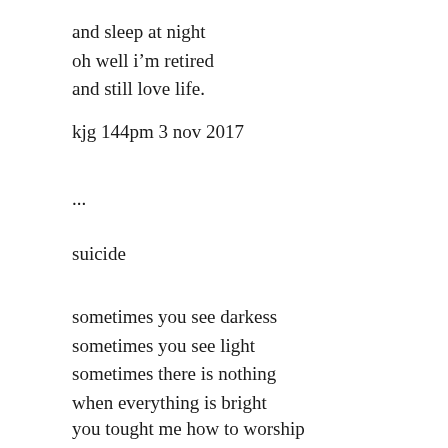and sleep at night
oh well i'm retired
and still love life.
kjg 144pm 3 nov 2017
...
suicide
sometimes you see darkess
sometimes you see light
sometimes there is nothing
when everything is bright
you tought me how to worship